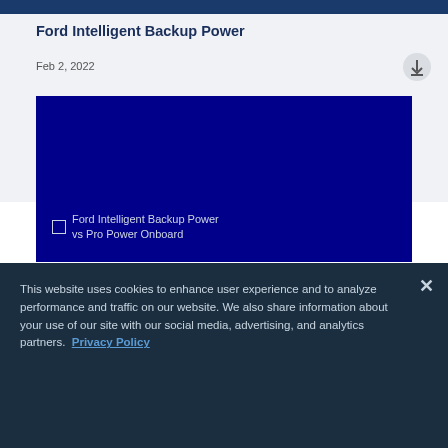Ford Intelligent Backup Power
Feb 2, 2022
[Figure (screenshot): Dark navy blue video thumbnail with broken image placeholder labeled 'Ford Intelligent Backup Power vs Pro Power Onboard']
This website uses cookies to enhance user experience and to analyze performance and traffic on our website. We also share information about your use of our site with our social media, advertising, and analytics partners. Privacy Policy
Cookie Settings